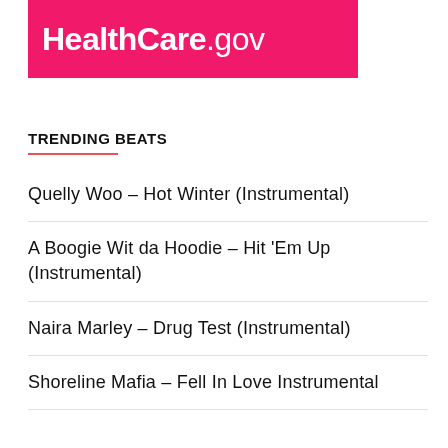[Figure (logo): HealthCare.gov logo on pink/magenta background banner]
TRENDING BEATS
Quelly Woo – Hot Winter (Instrumental)
A Boogie Wit da Hoodie – Hit 'Em Up (Instrumental)
Naira Marley – Drug Test (Instrumental)
Shoreline Mafia – Fell In Love Instrumental